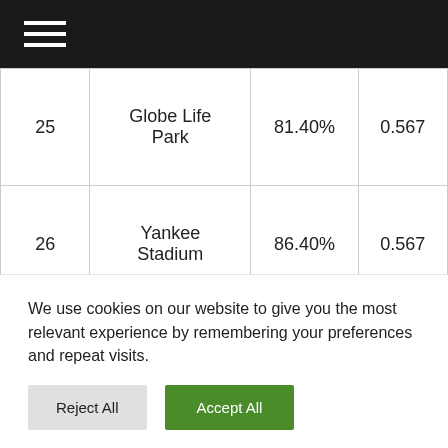Navigation menu header bar
| # | Stadium | Pct | Value |
| --- | --- | --- | --- |
| 25 | Globe Life Park | 81.40% | 0.567 |
| 26 | Yankee Stadium | 86.40% | 0.567 |
| 27 | Oakland Coliseum | 82.30% | 0.566 |
| 28 | Angel Stadium | 85.00% | 0.559 |
We use cookies on our website to give you the most relevant experience by remembering your preferences and repeat visits.